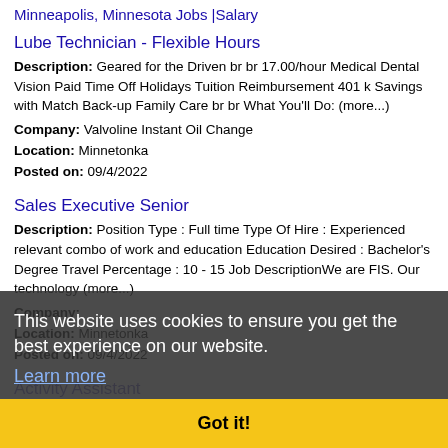Minneapolis, Minnesota Jobs |Salary
Lube Technician - Flexible Hours
Description: Geared for the Driven br br 17.00/hour Medical Dental Vision Paid Time Off Holidays Tuition Reimbursement 401 k Savings with Match Back-up Family Care br br What You'll Do: (more...)
Company: Valvoline Instant Oil Change
Location: Minnetonka
Posted on: 09/4/2022
Sales Executive Senior
Description: Position Type : Full time Type Of Hire : Experienced relevant combo of work and education Education Desired : Bachelor's Degree Travel Percentage : 10 - 15 Job DescriptionWe are FIS. Our technology (more...)
Company:
Location: Minnetonka
Posted on: 09/4/2022
Activity Assistant
Description: Overview br Sunrise is the best place that I've ever worked, simply because of the people. We provide quality care in an environment that feels like home. Our focus is doing what s
This website uses cookies to ensure you get the best experience on our website. Learn more Got it!